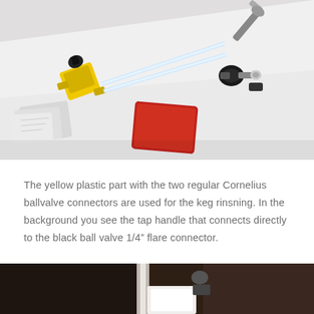[Figure (photo): Photo of brewing equipment on a white surface: yellow plastic part with two Cornelius ballvalve connectors and clear tubing on the left, black ball valve with 1/4 inch flare connector and tap handle on the right, with white/silver packets and a red packet/label in the background.]
The yellow plastic part with the two regular Cornelius ballvalve connectors are used for the keg rinsning. In the background you see the tap handle that connects directly to the black ball valve 1/4” flare connector.
[Figure (photo): Partial photo of brewing equipment, dark background with metallic and dark-colored components visible at bottom of page.]